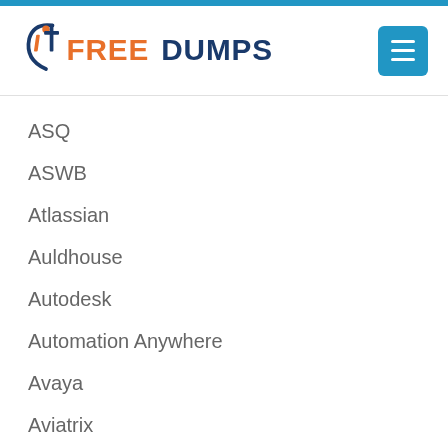[Figure (logo): itFreeDumps logo with stylized 'it' in orange and blue, followed by FREE in orange and DUMPS in dark blue]
ASQ
ASWB
Atlassian
Auldhouse
Autodesk
Automation Anywhere
Avaya
Aviatrix
Axis
BACB
BCM Institute